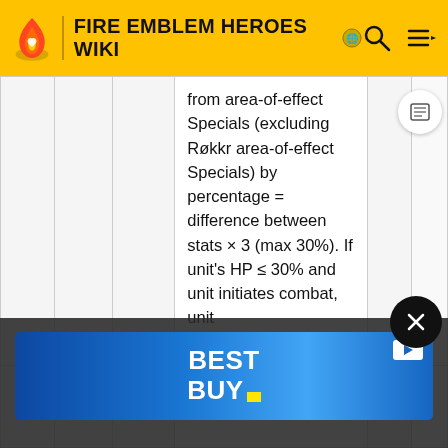FIRE EMBLEM HEROES WIKI
|  |  |  | from area-of-effect Specials (excluding Røkkr area-of-effect Specials) by percentage = difference between stats × 3 (max 30%). If unit's HP ≤ 30% and unit initiates combat, unit |  |  |
|  |  |  | attack before foe can |  |  |
[Figure (infographic): Best Buy advertisement banner with blue gradient background and white BEST BUY. logo text]